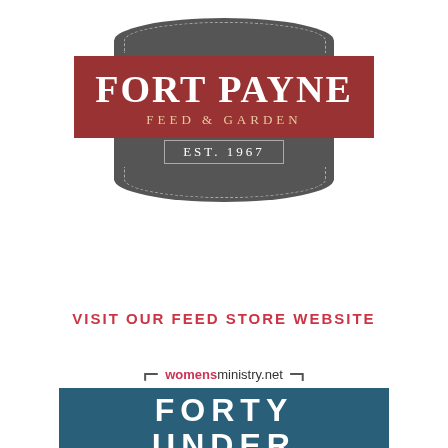[Figure (logo): Fort Payne Feed & Garden logo with dark grey top and bottom badge shapes and red main rectangle. Text reads FORT PAYNE in large white serif font, FEED & GARDEN below, and EST. 1967 in a ribbon beneath.]
VISIT OUR FEED STORE WEBSITE
[Figure (logo): womensministry.net logo with bracket decoration, followed by a dark teal rectangle with FORTY UNDER text in white.]